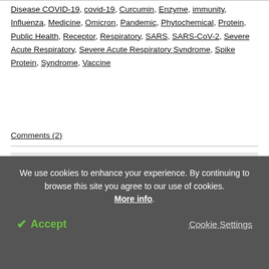Disease COVID-19, covid-19, Curcumin, Enzyme, immunity, Influenza, Medicine, Omicron, Pandemic, Phytochemical, Protein, Public Health, Receptor, Respiratory, SARS, SARS-CoV-2, Severe Acute Respiratory, Severe Acute Respiratory Syndrome, Spike Protein, Syndrome, Vaccine
Comments (2)
[Figure (photo): Author profile photo — a woman with dark hair against a light circular background on a grey panel]
We use cookies to enhance your experience. By continuing to browse this site you agree to our use of cookies. More info. Accept  Cookie Settings